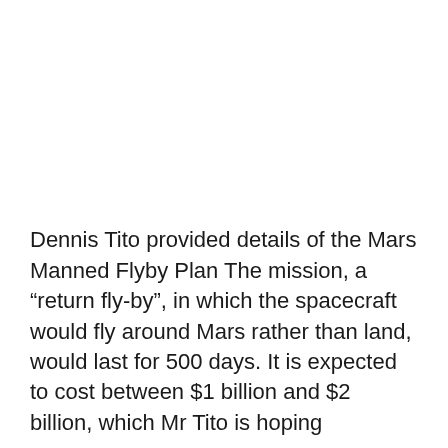Dennis Tito provided details of the Mars Manned Flyby Plan The mission, a “return flyby”, in which the spacecraft would fly around Mars rather than land, would last for 500 days. It is expected to cost between $1 billion and $2 billion, which Mr Tito is hoping